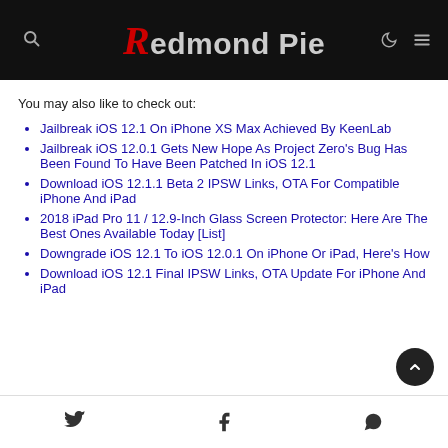Redmond Pie
You may also like to check out:
Jailbreak iOS 12.1 On iPhone XS Max Achieved By KeenLab
Jailbreak iOS 12.0.1 Gets New Hope As Project Zero's Bug Has Been Found To Have Been Patched In iOS 12.1
Download iOS 12.1.1 Beta 2 IPSW Links, OTA For Compatible iPhone And iPad
2018 iPad Pro 11 / 12.9-Inch Glass Screen Protector: Here Are The Best Ones Available Today [List]
Downgrade iOS 12.1 To iOS 12.0.1 On iPhone Or iPad, Here's How
Download iOS 12.1 Final IPSW Links, OTA Update For iPhone And iPad
Share icons: Twitter, Facebook, WhatsApp